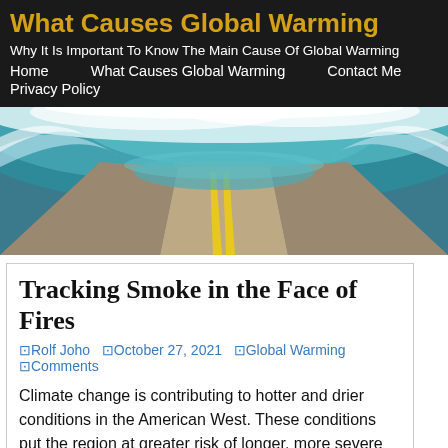What Causes Global Warming
Why It Is Important To Know The Main Cause Of Global Warming
Home   What Causes Global Warming   Contact Me   Privacy Policy
[Figure (photo): A large ocean wave crashing over a road with a yellow center line, depicting flooding or extreme weather event]
Tracking Smoke in the Face of Fires
Rolf Joho  October 27, 2021  Global Warming  Comments
Climate change is contributing to hotter and drier conditions in the American West. These conditions put the region at greater risk of longer, more severe fire seasons and health issues from wildfire smoke billowing into the surrounding communities. As exceptional drought grips the western United States, this year's fire season saw...